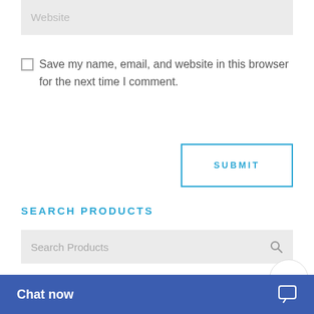Website
Save my name, email, and website in this browser for the next time I comment.
SUBMIT
SEARCH PRODUCTS
Search Products
PRODUCT CATEGORIES
Select a category
Chat now